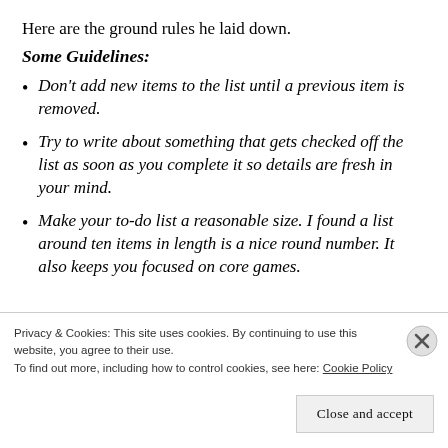Here are the ground rules he laid down.
Some Guidelines:
Don't add new items to the list until a previous item is removed.
Try to write about something that gets checked off the list as soon as you complete it so details are fresh in your mind.
Make your to-do list a reasonable size. I found a list around ten items in length is a nice round number. It also keeps you focused on core games.
Privacy & Cookies: This site uses cookies. By continuing to use this website, you agree to their use. To find out more, including how to control cookies, see here: Cookie Policy
Close and accept